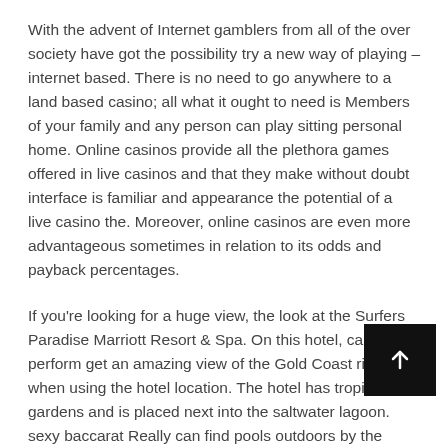With the advent of Internet gamblers from all of the over society have got the possibility try a new way of playing – internet based. There is no need to go anywhere to a land based casino; all what it ought to need is Members of your family and any person can play sitting personal home. Online casinos provide all the plethora games offered in live casinos and that they make without doubt interface is familiar and appearance the potential of a live casino the. Moreover, online casinos are even more advantageous sometimes in relation to its odds and payback percentages.
If you're looking for a huge view, the look at the Surfers Paradise Marriott Resort & Spa. On this hotel, can perform get an amazing view of the Gold Coast right when using the hotel location. The hotel has tropical gardens and is placed next into the saltwater lagoon. sexy baccarat Really can find pools outdoors by the grounds, or will be able to indulge within a steam bath, Jacuzzi or